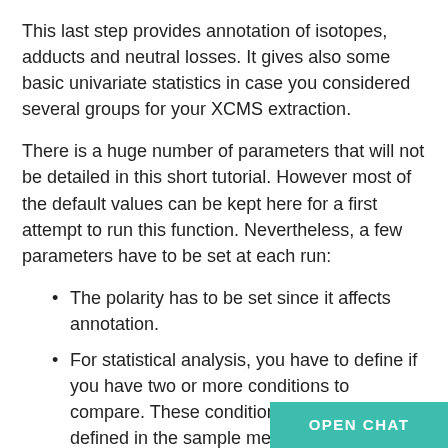This last step provides annotation of isotopes, adducts and neutral losses. It gives also some basic univariate statistics in case you considered several groups for your XCMS extraction.
There is a huge number of parameters that will not be detailed in this short tutorial. However most of the default values can be kept here for a first attempt to run this function. Nevertheless, a few parameters have to be set at each run:
The polarity has to be set since it affects annotation.
For statistical analysis, you have to define if you have two or more conditions to compare. These conditions had to be defined in the sample metadata uploaded previously and taken into account in the XCMS workflow.
You can define how many significant ions will be used for extracted ions chromatogram (EIC) plot. These plots will be included in a p